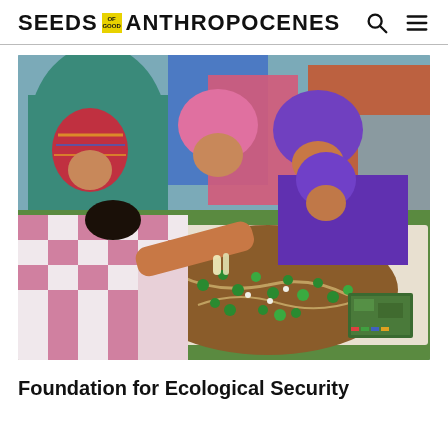SEEDS OF GOOD ANTHROPOCENES
[Figure (photo): Group of Indian women and men gathered around a table, examining a 3D terrain/land map model with green markers. A woman in a pink and white patterned garment is leaning forward to point at the model. Others in colorful saris and head coverings watch. On the table are also printed materials and charts. Outdoors on a green mat.]
Foundation for Ecological Security